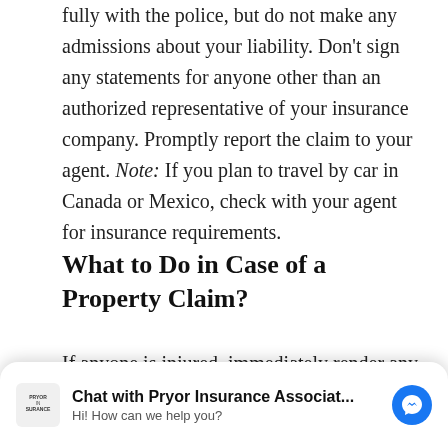fully with the police, but do not make any admissions about your liability. Don't sign any statements for anyone other than an authorized representative of your insurance company. Promptly report the claim to your agent. Note: If you plan to travel by car in Canada or Mexico, check with your agent for insurance requirements.
What to Do in Case of a Property Claim?
If anyone is injured, immediately render any possible first aid assistance and call emergency services. Take
[Figure (other): Chat widget overlay: Pryor Insurance Associates messenger chat bar with logo, title 'Chat with Pryor Insurance Associat...', subtitle 'Hi! How can we help you?', and Facebook Messenger icon.]
Companies